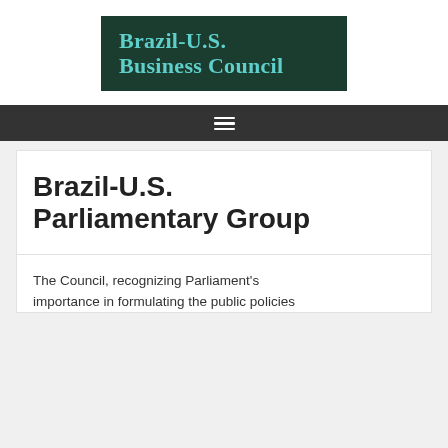[Figure (logo): Brazil-U.S. Business Council logo — dark green background with teal serif text]
≡
Brazil-U.S. Parliamentary Group
The Council, recognizing Parliament's importance in formulating the public policies